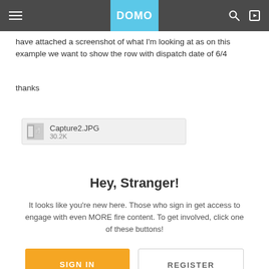DOMO
have attached a screenshot of what I'm looking at as on this example we want to show the row with dispatch date of 6/4
thanks
[Figure (other): Attachment file icon for Capture2.JPG, 30.2K]
Hey, Stranger!
It looks like you're new here. Those who sign in get access to engage with even MORE fire content. To get involved, click one of these buttons!
SIGN IN   REGISTER